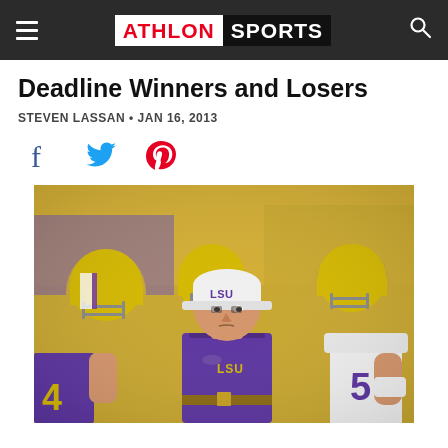ATHLON SPORTS
Deadline Winners and Losers
STEVEN LASSAN • JAN 16, 2013
[Figure (other): Social sharing icons: Facebook, Twitter, Pinterest]
[Figure (photo): LSU football coach wearing purple LSU polo shirt and white LSU cap surrounded by LSU players in gold and purple helmets and uniforms on the sideline]